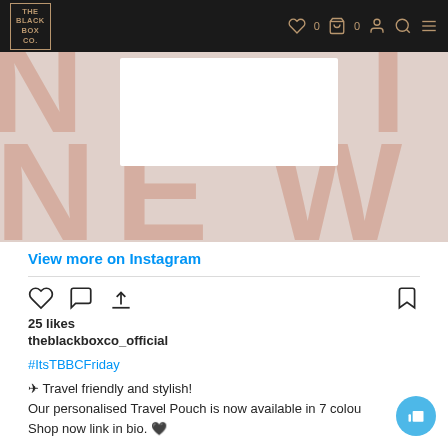THE BLACK BOX CO.
[Figure (screenshot): Instagram post hero image showing large pink block letters N, E, W on a light pinkish-grey background, with a white card overlay in the center]
View more on Instagram
[Figure (infographic): Instagram action icons: heart, comment, share, and bookmark]
25 likes
theblackboxco_official
#ItsTBBCFriday
✈ Travel friendly and stylish!
Our personalised Travel Pouch is now available in 7 colou
Shop now link in bio. 🖤